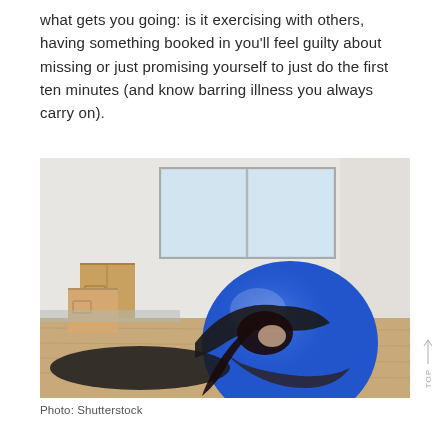what gets you going: is it exercising with others, having something booked in you'll feel guilty about missing or just promising yourself to just do the first ten minutes (and know barring illness you always carry on).
[Figure (photo): A woman in black athletic wear draping herself over a large blue exercise/stability ball on a wooden floor, with cardboard boxes and a window visible in the background.]
Photo: Shutterstock